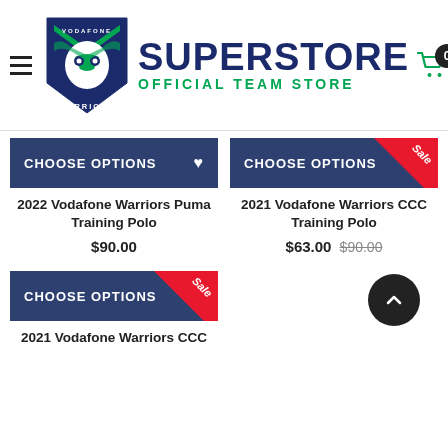[Figure (logo): Vodafone Warriors shield logo with green and navy colors, bird/warrior face design, text WARRIORS at bottom]
SUPERSTORE OFFICIAL TEAM STORE
CHOOSE OPTIONS
2022 Vodafone Warriors Puma Training Polo
$90.00
CHOOSE OPTIONS Sale
2021 Vodafone Warriors CCC Training Polo
$63.00 $90.00
CHOOSE OPTIONS Sale
2021 Vodafone Warriors CCC